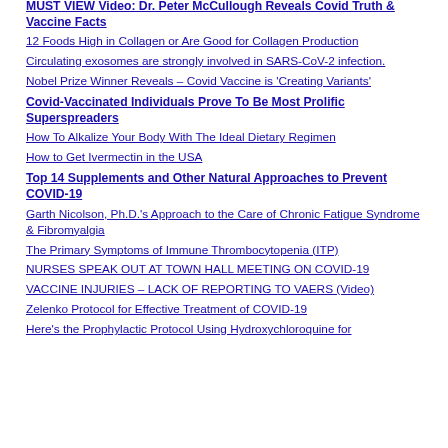MUST VIEW Video: Dr. Peter McCullough Reveals Covid Truth & Vaccine Facts
12 Foods High in Collagen or Are Good for Collagen Production
Circulating exosomes are strongly involved in SARS-CoV-2 infection.
Nobel Prize Winner Reveals – Covid Vaccine is 'Creating Variants'
Covid-Vaccinated Individuals Prove To Be Most Prolific Superspreaders
How To Alkalize Your Body With The Ideal Dietary Regimen
How to Get Ivermectin in the USA
Top 14 Supplements and Other Natural Approaches to Prevent COVID-19
Garth Nicolson, Ph.D.'s Approach to the Care of Chronic Fatigue Syndrome & Fibromyalgia
The Primary Symptoms of Immune Thrombocytopenia (ITP)
NURSES SPEAK OUT AT TOWN HALL MEETING ON COVID-19
VACCINE INJURIES – LACK OF REPORTING TO VAERS (Video)
Zelenko Protocol for Effective Treatment of COVID-19
Here's the Prophylactic Protocol Using Hydroxychloroquine for